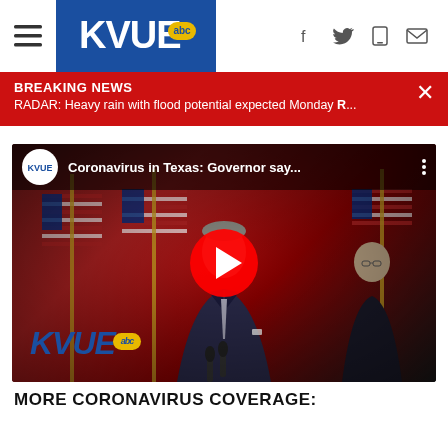[Figure (screenshot): KVUE ABC news website header with hamburger menu, KVUE logo in blue box, and social/share icons (Facebook, Twitter, mobile, email)]
BREAKING NEWS
RADAR: Heavy rain with flood potential expected Monday R...
[Figure (screenshot): YouTube embedded video thumbnail showing Texas Governor at press conference with American flags in background, KVUE logo watermark, title 'Coronavirus in Texas: Governor say...']
MORE CORONAVIRUS COVERAGE: